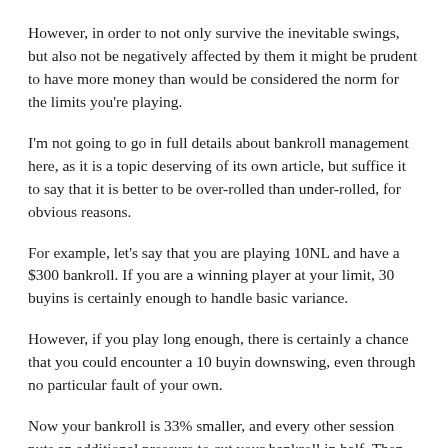However, in order to not only survive the inevitable swings, but also not be negatively affected by them it might be prudent to have more money than would be considered the norm for the limits you're playing.
I'm not going to go in full details about bankroll management here, as it is a topic deserving of its own article, but suffice it to say that it is better to be over-rolled than under-rolled, for obvious reasons.
For example, let's say that you are playing 10NL and have a $300 bankroll. If you are a winning player at your limit, 30 buyins is certainly enough to handle basic variance.
However, if you play long enough, there is certainly a chance that you could encounter a 10 buyin downswing, even through no particular fault of your own.
Now your bankroll is 33% smaller, and every other session puts an additional pressure to cut your bankroll in half. Then you'd have to grind the lower stakes again to get it back, or even reload to feel